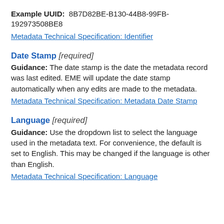Example UUID: 8B7D82BE-B130-44B8-99FB-192973508BE8
Metadata Technical Specification: Identifier
Date Stamp [required]
Guidance: The date stamp is the date the metadata record was last edited. EME will update the date stamp automatically when any edits are made to the metadata.
Metadata Technical Specification: Metadata Date Stamp
Language [required]
Guidance: Use the dropdown list to select the language used in the metadata text. For convenience, the default is set to English. This may be changed if the language is other than English.
Metadata Technical Specification: Language